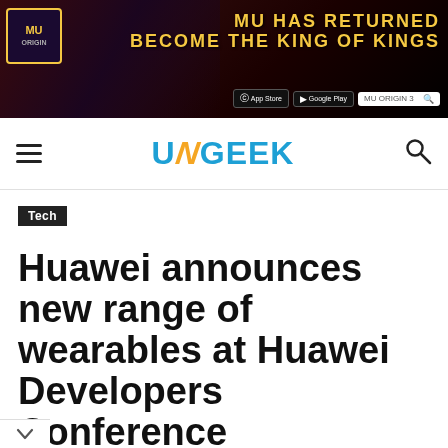[Figure (screenshot): MU Origin 3 advertisement banner with game artwork and text 'MU HAS RETURNED BECOME THE KING OF KINGS' with App Store, Google Play buttons and search box]
UNGEEK
Tech
Huawei announces new range of wearables at Huawei Developers Conference